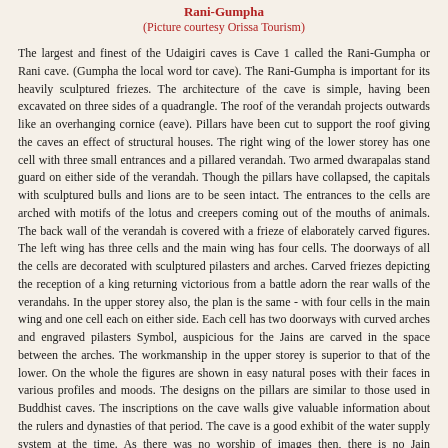Rani-Gumpha
(Picture courtesy Orissa Tourism)
The largest and finest of the Udaigiri caves is Cave 1 called the Rani-Gumpha or Rani cave. (Gumpha the local word tor cave). The Rani-Gumpha is important for its heavily sculptured friezes. The architecture of the cave is simple, having been excavated on three sides of a quadrangle. The roof of the verandah projects outwards like an overhanging cornice (eave). Pillars have been cut to support the roof giving the caves an effect of structural houses. The right wing of the lower storey has one cell with three small entrances and a pillared verandah. Two armed dwarapalas stand guard on either side of the verandah. Though the pillars have collapsed, the capitals with sculptured bulls and lions are to be seen intact. The entrances to the cells are arched with motifs of the lotus and creepers coming out of the mouths of animals. The back wall of the verandah is covered with a frieze of elaborately carved figures. The left wing has three cells and the main wing has four cells. The doorways of all the cells are decorated with sculptured pilasters and arches. Carved friezes depicting the reception of a king returning victorious from a battle adorn the rear walls of the verandahs. In the upper storey also, the plan is the same - with four cells in the main wing and one cell each on either side. Each cell has two doorways with curved arches and engraved pilasters Symbol, auspicious for the Jains are carved in the space between the arches. The workmanship in the upper storey is superior to that of the lower. On the whole the figures are shown in easy natural poses with their faces in various profiles and moods. The designs on the pillars are similar to those used in Buddhist caves. The inscriptions on the cave walls give valuable information about the rulers and dynasties of that period. The cave is a good exhibit of the water supply system at the time. As there was no worship of images then, there is no Jain thirthankara in the original carving. Figures of thirthankaras carved on the walls of the cells are a later addition to the